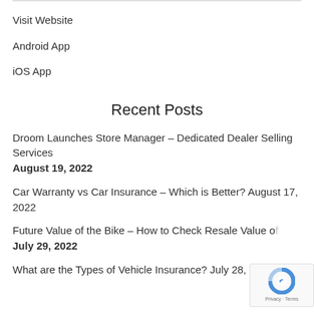Visit Website
Android App
iOS App
Recent Posts
Droom Launches Store Manager – Dedicated Dealer Selling Services
August 19, 2022
Car Warranty vs Car Insurance – Which is Better? August 17, 2022
Future Value of the Bike – How to Check Resale Value of
July 29, 2022
What are the Types of Vehicle Insurance? July 28, 2022